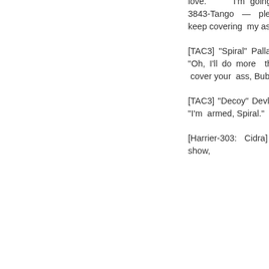love. I'm going after 3843-Tango — please to keep covering my ass?"
[TAC3] "Spiral" Pallas says, "Oh, I'll do more than just cover your ass, Bubbles."
[TAC3] "Decoy" Devlin says, "I'm armed, Spiral."
[Harrier-303: Cidra] "Good show,